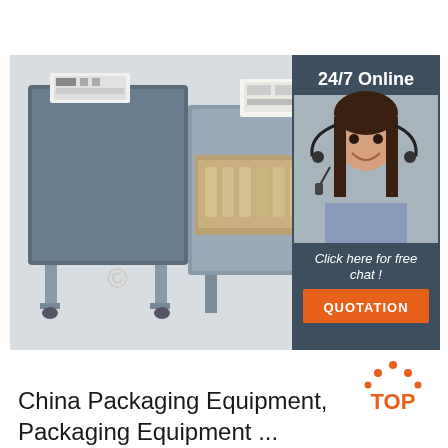[Figure (photo): Industrial packaging equipment / shrink wrap machine in a factory setting, with a customer service agent overlay panel on the right showing '24/7 Online', a woman with headset, 'Click here for free chat!' text, and an orange QUOTATION button]
[Figure (logo): TOP logo with orange dots arranged in arc above orange letters 'TOP']
China Packaging Equipment, Packaging Equipment ...